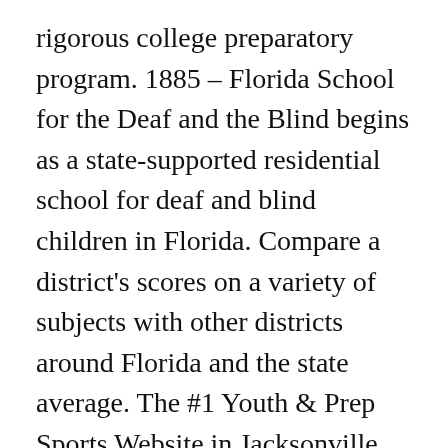rigorous college preparatory program. 1885 – Florida School for the Deaf and the Blind begins as a state-supported residential school for deaf and blind children in Florida. Compare a district's scores on a variety of subjects with other districts around Florida and the state average. The #1 Youth & Prep Sports Website in Jacksonville and Northeast Florida. Listed below are all public and private high schools located in St. Johns, Florida. St. Johns County School District • 40 Orange Street • St. Augustine, FL • (904) 547-7500. ST.JOHNS COUNTY, Fla. -- St. Johns County has the top-rated public school districts in Florida. St. John Lutheran Middle School (6th-8th Grade) St. John Lutheran Middle School encompasses